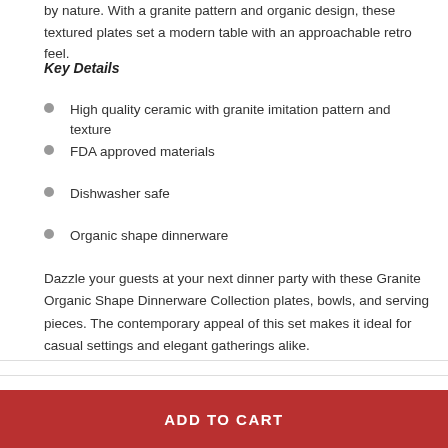by nature. With a granite pattern and organic design, these textured plates set a modern table with an approachable retro feel.
Key Details
High quality ceramic with granite imitation pattern and texture
FDA approved materials
Dishwasher safe
Organic shape dinnerware
Dazzle your guests at your next dinner party with these Granite Organic Shape Dinnerware Collection plates, bowls, and serving pieces. The contemporary appeal of this set makes it ideal for casual settings and elegant gatherings alike.
Shipping & Returns
ADD TO CART